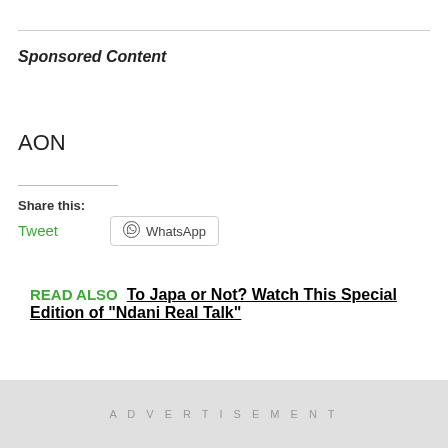Sponsored Content
AON
Share this:
Tweet
WhatsApp
READ ALSO  To Japa or Not? Watch This Special Edition of "Ndani Real Talk"
ADVERTISEMENT